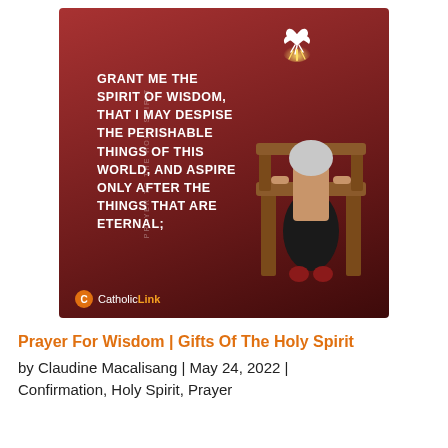[Figure (illustration): Dark red/maroon gradient background illustration showing a person kneeling in prayer at a wooden pew, viewed from behind, wearing a dark skirt and head covering. A white dove with glowing golden light flies above. Vertical text on left side reads 'PRAYER TO THE HOLY SPIRIT'. White bold text reads: 'GRANT ME THE SPIRIT OF WISDOM, THAT I MAY DESPISE THE PERISHABLE THINGS OF THIS WORLD, AND ASPIRE ONLY AFTER THE THINGS THAT ARE ETERNAL;'. CatholicLink logo at bottom left.]
Prayer For Wisdom | Gifts Of The Holy Spirit
by Claudine Macalisang | May 24, 2022 | Confirmation, Holy Spirit, Prayer